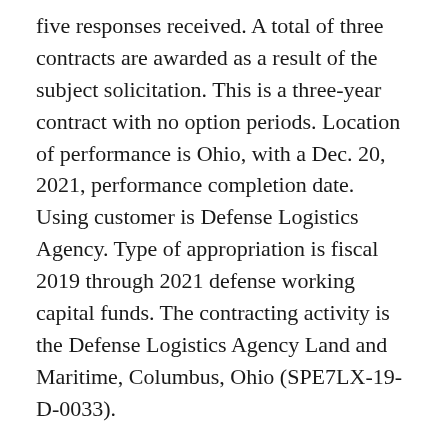five responses received. A total of three contracts are awarded as a result of the subject solicitation. This is a three-year contract with no option periods. Location of performance is Ohio, with a Dec. 20, 2021, performance completion date. Using customer is Defense Logistics Agency. Type of appropriation is fiscal 2019 through 2021 defense working capital funds. The contracting activity is the Defense Logistics Agency Land and Maritime, Columbus, Ohio (SPE7LX-19-D-0033).
Consumer Fuels Inc.,* Huntsville, Alabama, has been awarded a $7,433,117 firm-fixed-price contract for the 105mm Light Towed Howitzer's